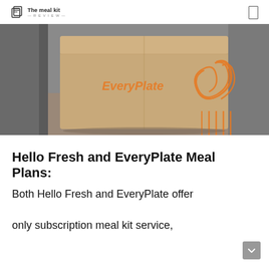The meal kit REVIEW
[Figure (photo): A brown cardboard EveryPlate delivery box sitting on a doorstep, with orange EveryPlate logo and design on the side, photographed outdoors.]
Hello Fresh and EveryPlate Meal Plans:
Both Hello Fresh and EveryPlate offer only subscription meal kit service,